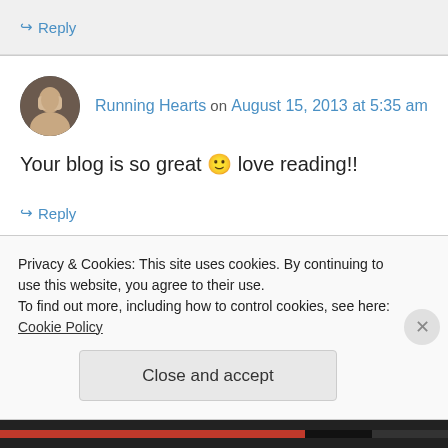↪ Reply
Running Hearts on August 15, 2013 at 5:35 am
Your blog is so great 🙂 love reading!!
↪ Reply
thehungrymum on August 15, 2013 at 6:05 am
Privacy & Cookies: This site uses cookies. By continuing to use this website, you agree to their use. To find out more, including how to control cookies, see here: Cookie Policy
Close and accept